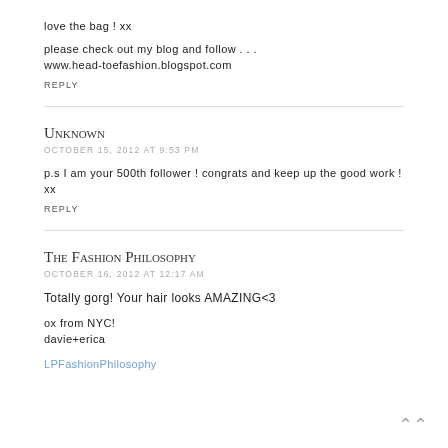love the bag ! xx
please check out my blog and follow . . .
www.head-toefashion.blogspot.com
REPLY
Unknown
OCTOBER 15, 2012 AT 9:53 PM
p.s I am your 500th follower ! congrats and keep up the good work ! xx
REPLY
The Fashion Philosophy
OCTOBER 16, 2012 AT 12:17 AM
Totally gorg! Your hair looks AMAZING<3
ox from NYC!
davie+erica
LPFashionPhilosophy